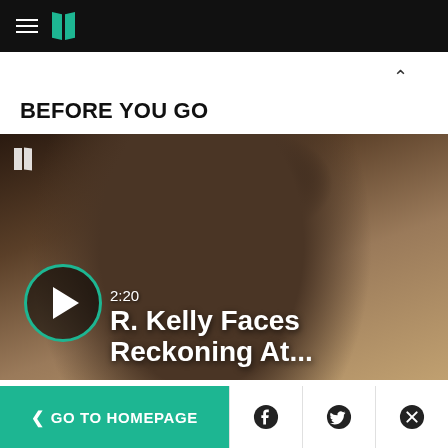HuffPost navigation header
BEFORE YOU GO
[Figure (screenshot): Video thumbnail showing a man's face in profile, with a play button overlay. Duration shown as 2:20. Title reads 'R. Kelly Faces Reckoning At...' with HuffPost logo watermark in top left.]
< GO TO HOMEPAGE
Facebook share button
Twitter share button
Close button